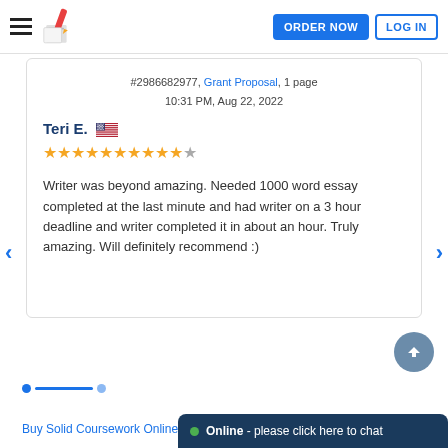ORDER NOW  LOG IN
#2986682977, Grant Proposal, 1 page
10:31 PM, Aug 22, 2022
Teri E. 🇺🇸
[Figure (other): Star rating: 10 out of 11 orange stars, 1 empty star]
Writer was beyond amazing. Needed 1000 word essay completed at the last minute and had writer on a 3 hour deadline and writer completed it in about an hour. Truly amazing. Will definitely recommend :)
Online - please click here to chat